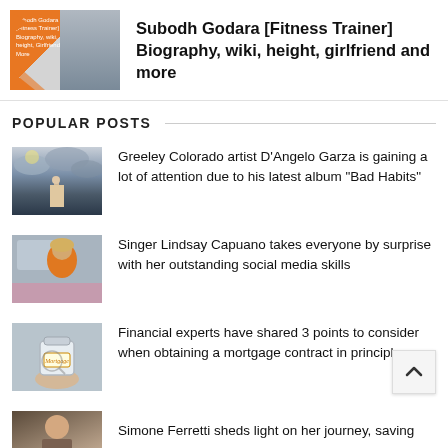[Figure (photo): Featured article thumbnail with orange graphic design and a man in a blue t-shirt]
Subodh Godara [Fitness Trainer] Biography, wiki, height, girlfriend and more
POPULAR POSTS
[Figure (photo): Artistic/fantasy mountain scene with a person standing on a rock]
Greeley Colorado artist D’Angelo Garza is gaining a lot of attention due to his latest album "Bad Habits"
[Figure (photo): Woman in orange outfit, possibly in a car]
Singer Lindsay Capuano takes everyone by surprise with her outstanding social media skills
[Figure (photo): Close-up of a hand holding a jar with a 'Mortgage' label]
Financial experts have shared 3 points to consider when obtaining a mortgage contract in principle
[Figure (photo): Portrait photo of Simone Ferretti]
Simone Ferretti sheds light on her journey, saving